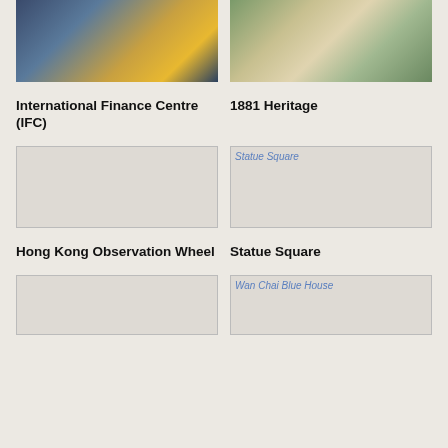[Figure (photo): Aerial night view of International Finance Centre (IFC) skyscrapers in Hong Kong]
[Figure (photo): 1881 Heritage building exterior with curved architecture and greenery]
International Finance Centre (IFC)
1881 Heritage
[Figure (photo): Hong Kong Observation Wheel (broken/unloaded image)]
[Figure (photo): Statue Square — broken image with alt text visible]
Hong Kong Observation Wheel
Statue Square
[Figure (photo): Unloaded image placeholder for next attraction]
[Figure (photo): Wan Chai Blue House — broken image with alt text visible]